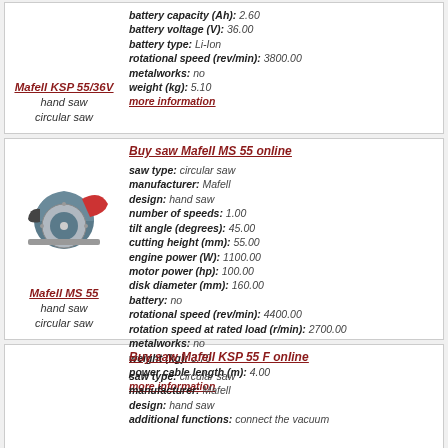Mafell KSP 55/36V
hand saw
circular saw
battery capacity (Ah): 2.60
battery voltage (V): 36.00
battery type: Li-Ion
rotational speed (rev/min): 3800.00
metalworks: no
weight (kg): 5.10
more information
[Figure (photo): Photo of Mafell MS 55 circular hand saw, grey and red body]
Mafell MS 55
hand saw
circular saw
Buy saw Mafell MS 55 online
saw type: circular saw
manufacturer: Mafell
design: hand saw
number of speeds: 1.00
tilt angle (degrees): 45.00
cutting height (mm): 55.00
engine power (W): 1100.00
motor power (hp): 100.00
disk diameter (mm): 160.00
battery: no
rotational speed (rev/min): 4400.00
rotation speed at rated load (r/min): 2700.00
metalworks: no
weight (kg): 3.70
power cable length (m): 4.00
more information
Buy saw Mafell KSP 55 F online
saw type: circular saw
manufacturer: Mafell
design: hand saw
additional functions: connect the vacuum